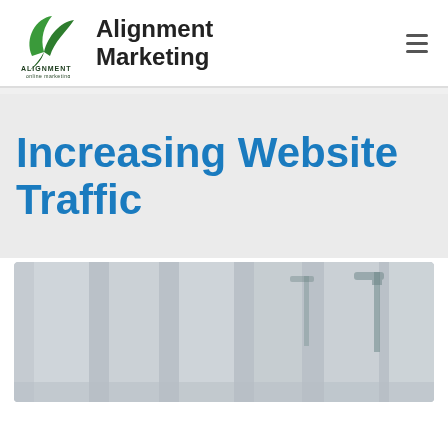[Figure (logo): Alignment online marketing logo — green leaf/bird graphic with text ALIGNMENT online marketing below]
Alignment Marketing
Increasing Website Traffic
[Figure (photo): Blurred grey-toned photograph showing architectural columns and a street lamp, used as a decorative hero image]